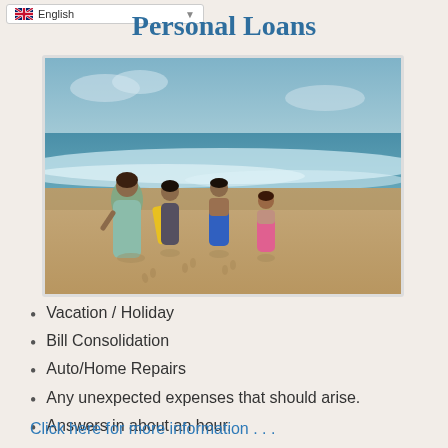English
Personal Loans
[Figure (photo): A woman and three children walking on a beach toward the ocean, one child carrying a yellow boogie board.]
Vacation / Holiday
Bill Consolidation
Auto/Home Repairs
Any unexpected expenses that should arise.
Answers in about an hour.
Click here for more information . . .